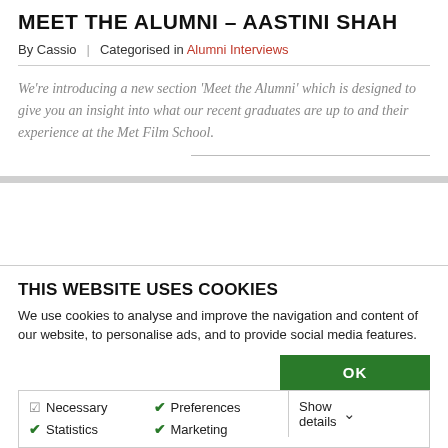MEET THE ALUMNI – AASTINI SHAH
By Cassio | Categorised in Alumni Interviews
We're introducing a new section 'Meet the Alumni' which is designed to give you an insight into what our recent graduates are up to and their experience at the Met Film School.
THIS WEBSITE USES COOKIES
We use cookies to analyse and improve the navigation and content of our website, to personalise ads, and to provide social media features.
OK
Necessary  Preferences  Statistics  Marketing  Show details